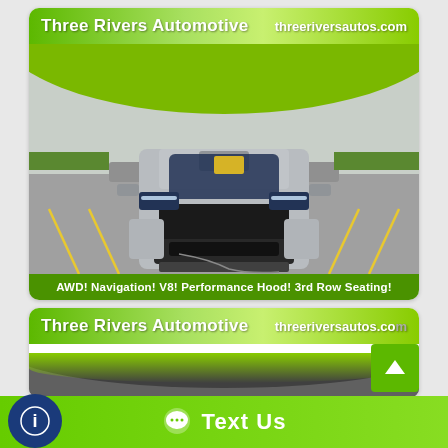[Figure (photo): Three Rivers Automotive dealer advertisement showing a silver Dodge Durango RT SUV front view in a dealership parking lot. Green header with dealer name and website. Bottom bar shows features: AWD! Navigation! V8! Performance Hood! 3rd Row Seating!]
[Figure (photo): Second Three Rivers Automotive dealer advertisement card (partially visible) with the same green header and a dark-colored vehicle partially shown.]
Text Us